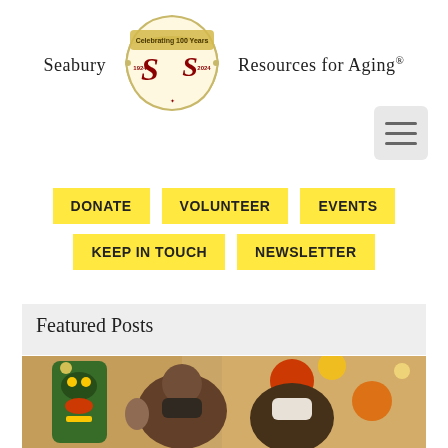[Figure (logo): Seabury Resources for Aging logo with decorative SS monogram and banner reading Celebrating 100 Years 1924-2024]
[Figure (other): Hamburger menu icon (three horizontal lines) on light gray background]
DONATE
VOLUNTEER
EVENTS
KEEP IN TOUCH
NEWSLETTER
Featured Posts
[Figure (photo): Two women posing together indoors, one wearing a black mask waving, the other wearing a white mask with red hair, decorative tiki mask visible in background]